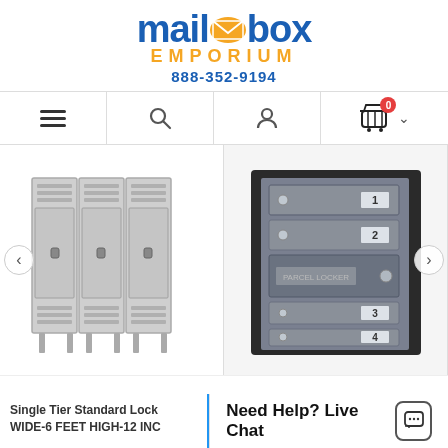[Figure (logo): Mailbox Emporium logo with blue 'mailbox' text, orange envelope icon, orange 'EMPORIUM' text, and blue phone number 888-352-9194]
[Figure (screenshot): Navigation bar with hamburger menu, search icon, user icon, shopping cart with badge showing 0, and chevron]
[Figure (photo): Single tier standard locker, grey metal, 3 doors wide]
[Figure (photo): Wall-mount cluster mailbox unit with 4 compartments numbered 1-4, grey metal with dark surround]
Single Tier Standard Lock WIDE-6 FEET HIGH-12 INC
Need Help? Live Chat